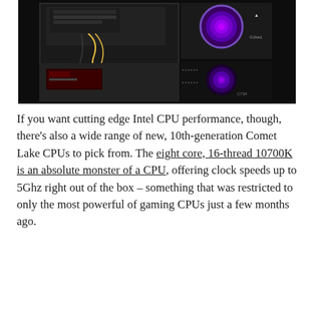[Figure (photo): Photo of a PC case interior and exterior showing components including cables, RGB fan, and case panels against a dark background with Corsair branding visible]
If you want cutting edge Intel CPU performance, though, there's also a wide range of new, 10th-generation Comet Lake CPUs to pick from. The eight core, 16-thread 10700K is an absolute monster of a CPU, offering clock speeds up to 5Ghz right out of the box – something that was restricted to only the most powerful of gaming CPUs just a few months ago.